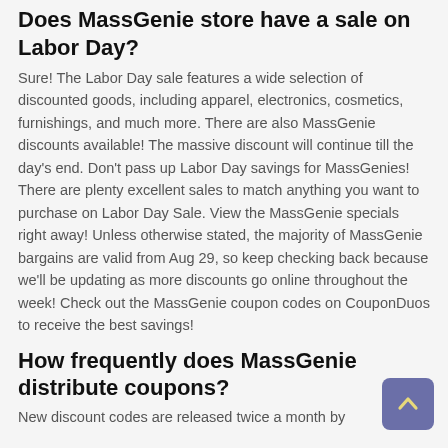Does MassGenie store have a sale on Labor Day?
Sure! The Labor Day sale features a wide selection of discounted goods, including apparel, electronics, cosmetics, furnishings, and much more. There are also MassGenie discounts available! The massive discount will continue till the day's end. Don't pass up Labor Day savings for MassGenies! There are plenty excellent sales to match anything you want to purchase on Labor Day Sale. View the MassGenie specials right away! Unless otherwise stated, the majority of MassGenie bargains are valid from Aug 29, so keep checking back because we'll be updating as more discounts go online throughout the week! Check out the MassGenie coupon codes on CouponDuos to receive the best savings!
How frequently does MassGenie distribute coupons?
New discount codes are released twice a month by